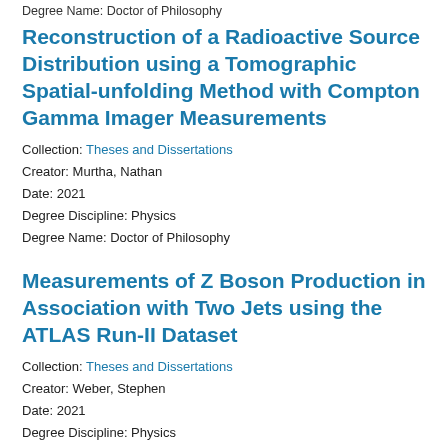Degree Name: Doctor of Philosophy
Reconstruction of a Radioactive Source Distribution using a Tomographic Spatial-unfolding Method with Compton Gamma Imager Measurements
Collection: Theses and Dissertations
Creator: Murtha, Nathan
Date: 2021
Degree Discipline: Physics
Degree Name: Doctor of Philosophy
Measurements of Z Boson Production in Association with Two Jets using the ATLAS Run-II Dataset
Collection: Theses and Dissertations
Creator: Weber, Stephen
Date: 2021
Degree Discipline: Physics